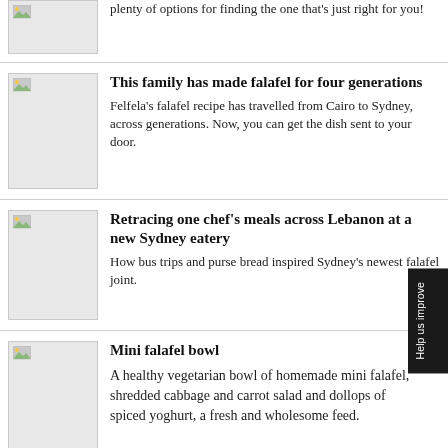plenty of options for finding the one that's just right for you!
This family has made falafel for four generations
Felfela's falafel recipe has travelled from Cairo to Sydney, across generations. Now, you can get the dish sent to your door.
Retracing one chef's meals across Lebanon at a new Sydney eatery
How bus trips and purse bread inspired Sydney's newest falafel joint.
Mini falafel bowl
A healthy vegetarian bowl of homemade mini falafel, shredded cabbage and carrot salad and dollops of spiced yoghurt, a fresh and wholesome feed.